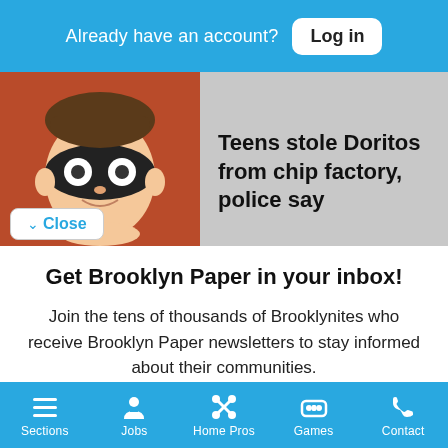Already have an account? Log in
Teens stole Doritos from chip factory, police say
Get Brooklyn Paper in your inbox!
Join the tens of thousands of Brooklynites who receive Brooklyn Paper newsletters to stay informed about their communities.
Free Newsletters 2
BK Paper Daily Newsletter
BK Paper Events
Sections  Jobs  Home Pros  Games  Contact